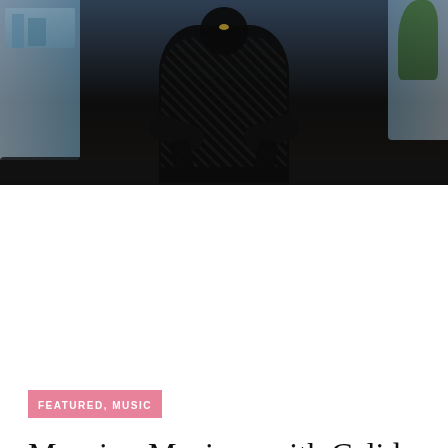[Figure (photo): A man seated on a dark sofa in a dimly lit room, with large windows letting in daylight. The figure is largely silhouetted with patterned clothing visible. Plants and city skyline visible in the background.]
FEATURED, MUSIC
Morning Musings with Calid B
STICKY • by AMFMLIFE • 11 FEBRUARY • SHARE
Calid B. hails from Columbus, Ohio, but has made Chicago his home since he started producing music while attending Columbia college in Chicago. Shortly after...